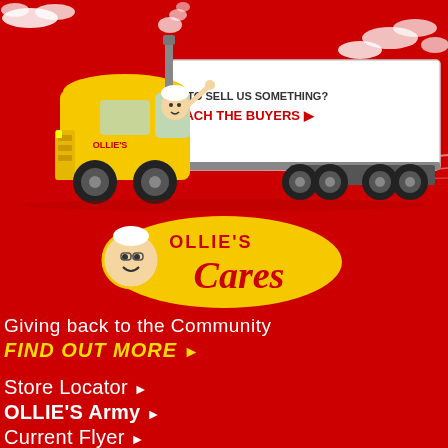[Figure (illustration): Ollie's Bargain Outlet branded yellow semi-truck speeding with white trailer, cartoon mascot (white-haired man) driving, speed clouds/smoke. Text on trailer: 'WANT TO SELL US SOMETHING? REACH THE BUYERS ▶']
[Figure (logo): Ollie's Cares logo: yellow circular badge with cartoon mascot face, red cursive 'Cares' text with yellow 'OLLIE'S' above]
Giving back to the Community
FIND OUT MORE ▶
Store Locator ▶
OLLIE'S Army ▶
Current Flyer ▶
Great Deals ▶